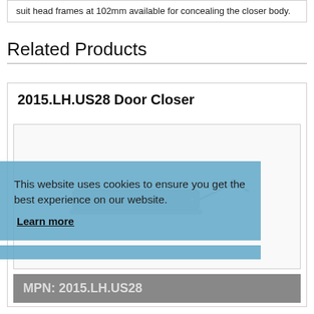suit head frames at 102mm available for concealing the closer body.
Related Products
2015.LH.US28 Door Closer
[Figure (illustration): Engineering illustration of a concealed door closer mechanism, shown as a technical line drawing in light gray/silver tones]
MPN: 2015.LH.US28
Concealed Door Closer Size 5 with B/C - Left Hand
This website uses cookies to ensure you get the best experience on our website.
Learn more
Got it!